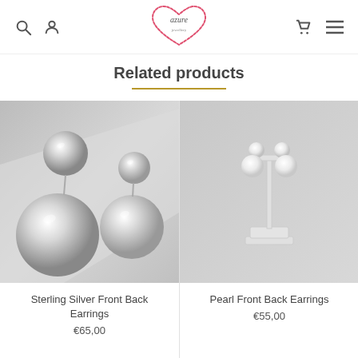[Figure (logo): Azure Jewellery logo with heart shape in red sketch style]
Related products
[Figure (photo): Sterling silver double ball front back earrings on grey background]
Sterling Silver Front Back Earrings
€65,00
[Figure (photo): Pearl front back earrings on white display stand against grey background]
Pearl Front Back Earrings
€55,00